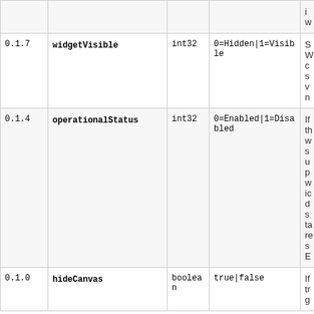| Version | Name | Type | Values | Description |
| --- | --- | --- | --- | --- |
|  |  |  |  | i...
w... |
| 0.1.7 | widgetVisible | int32 | 0=Hidden|1=Visible | S...
W...
c...
s...
v...
n... |
| 0.1.4 | operationalStatus | int32 | 0=Enabled|1=Disabled | If
th...
w...
s...
u...
p...
w...
i...
d...
s...
ta...
re...
s...
E... |
| 0.1.0 | hideCanvas | boolean | true|false | If
tr...
g... |